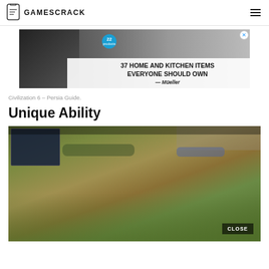GAMESCRACK
[Figure (photo): Advertisement banner for Mueller brand: '37 HOME AND KITCHEN ITEMS EVERYONE SHOULD OWN' with badge showing '22 products']
Civilization 6 – Persia Guide.
Unique Ability
[Figure (screenshot): Civilization 6 gameplay screenshot showing a map view with units and terrain, CLOSE button in bottom right]